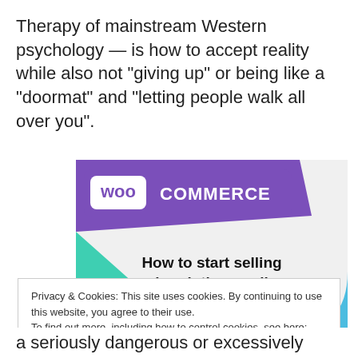Therapy of mainstream Western psychology — is how to accept reality while also not “giving up” or being like a “doormat” and “letting people walk all over you”.
[Figure (screenshot): WooCommerce advertisement banner with text 'How to start selling subscriptions online' on a light grey background with purple, teal, and blue accents and the WooCommerce logo at the top.]
Privacy & Cookies: This site uses cookies. By continuing to use this website, you agree to their use.
To find out more, including how to control cookies, see here: Cookie Policy
a seriously dangerous or excessively lame current? Why